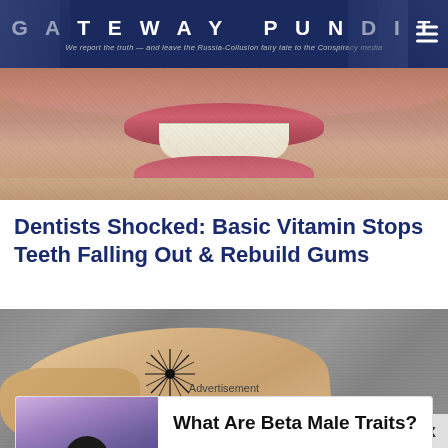GATEWAY PUNDIT — We report the truth — and leave the Russia-Collusion fairy tale to the Conspiracy media
[Figure (photo): Close-up photo of a human mouth/lips and teeth area with stubble on surrounding skin]
Dentists Shocked: Basic Vitamin Stops Teeth Falling Out & Rebuild Gums
[Figure (photo): Close-up photo of a human foot/ankle on grey fabric background with a star-burst graphic overlay near the ankle bone]
Advertisement
[Figure (photo): Advertisement image showing a gorilla-like figure in a white tank top in front of a colorful background. Text: What Are Beta Male Traits? Herbeauty]